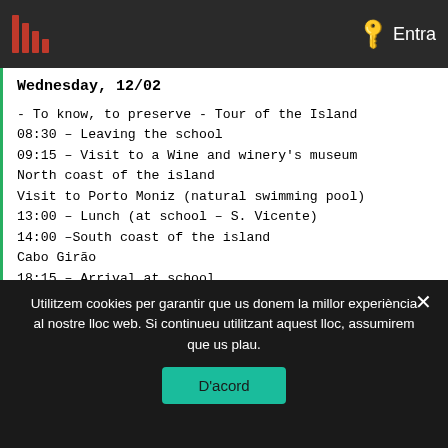Entra
Wednesday, 12/02
- To know, to preserve - Tour of the Island
08:30 – Leaving the school
09:15 – Visit to a Wine and winery's museum
North coast of the island
Visit to Porto Moniz (natural swimming pool)
13:00 – Lunch (at school – S. Vicente)
14:00 –South coast of the island
Cabo Girão
18:15 – Arrival at school
Thursday, 13/02
- Contribution in the preservation and conservation of Santana Madeira Biosfera heritage
08:30 – Leaving the school
Utilitzem cookies per garantir que us donem la millor experiència al nostre lloc web. Si continueu utilitzant aquest lloc, assumirem que us plau.
D'acord